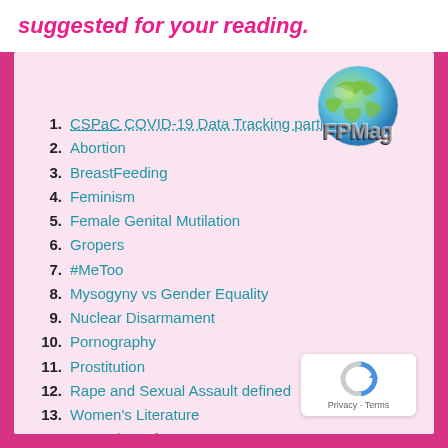suggested for your reading.
[Figure (logo): FPMag globe logo with earth graphic and FPMag text overlay]
1. CSPaC COVID-19 Data Tracking parti…
2. Abortion
3. BreastFeeding
4. Feminism
5. Female Genital Mutilation
6. Gropers
7. #MeToo
8. Mysogyny vs Gender Equality
9. Nuclear Disarmament
10. Pornography
11. Prostitution
12. Rape and Sexual Assault defined
13. Women's Literature
14. War Crime of Rape
[Figure (logo): reCAPTCHA badge with Privacy and Terms links]